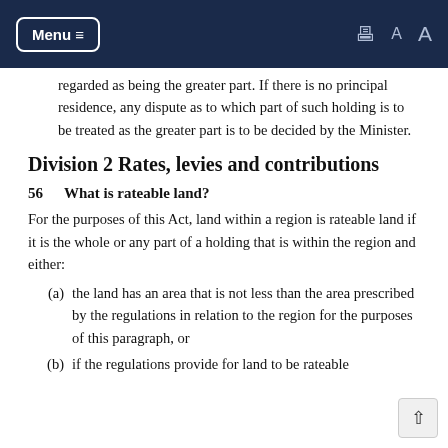Menu ≡   [print icon]   A   A
regarded as being the greater part. If there is no principal residence, any dispute as to which part of such holding is to be treated as the greater part is to be decided by the Minister.
Division 2 Rates, levies and contributions
56   What is rateable land?
For the purposes of this Act, land within a region is rateable land if it is the whole or any part of a holding that is within the region and either:
(a)  the land has an area that is not less than the area prescribed by the regulations in relation to the region for the purposes of this paragraph, or
(b)  if the regulations provide for land to be rateable